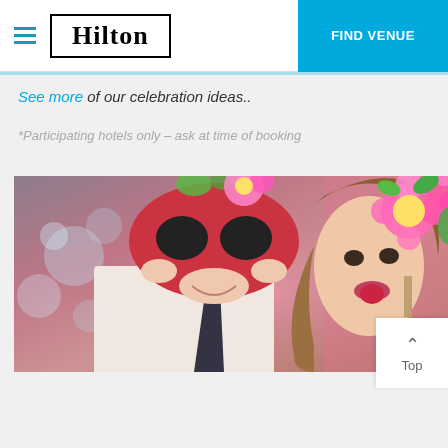Hilton | FIND VENUE
See more of our celebration ideas..
*Participating hotels only – ask at time of booking
[Figure (photo): Two people at a party celebration event holding colorful masks and floral props in front of their faces, smiling, with blurred bokeh background.]
Top